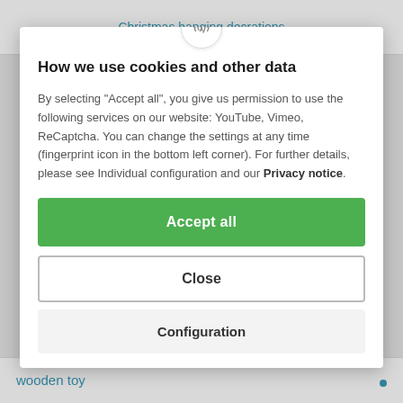Christmas hanging decorations
How we use cookies and other data
By selecting "Accept all", you give us permission to use the following services on our website: YouTube, Vimeo, ReCaptcha. You can change the settings at any time (fingerprint icon in the bottom left corner). For further details, please see Individual configuration and our Privacy notice.
Accept all
Close
Configuration
wooden toy